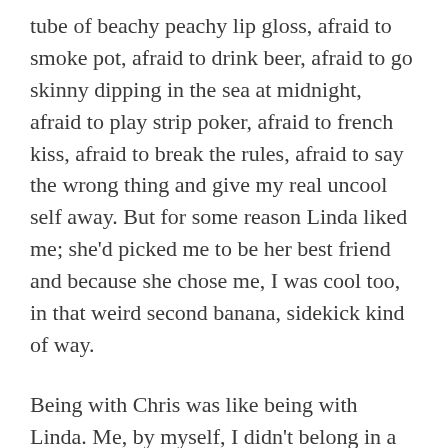tube of beachy peachy lip gloss, afraid to smoke pot, afraid to drink beer, afraid to go skinny dipping in the sea at midnight, afraid to play strip poker, afraid to french kiss, afraid to break the rules, afraid to say the wrong thing and give my real uncool self away. But for some reason Linda liked me; she'd picked me to be her best friend and because she chose me, I was cool too, in that weird second banana, sidekick kind of way.
Being with Chris was like being with Linda. Me, by myself, I didn't belong in a surf shop, where the cool kids hung out, but going there with Chris meant I passed some invisible test. I became, at least for those moments, cool too, in that odd contact-cool kind of way. I waited for him to bring up Linda, instead, he told me about a new shortboard he had his eyes on and how psyched he was that the surfing championship was being held in P.R.  He wanted to know what Canadian kids did if they wanted to